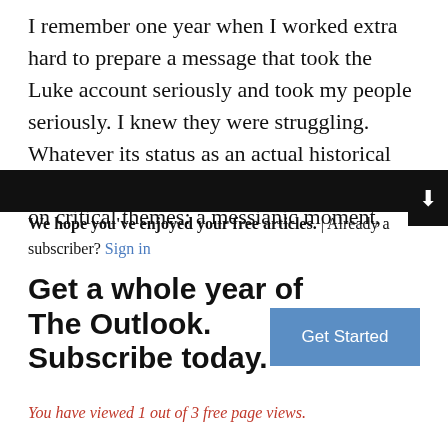I remember one year when I worked extra hard to prepare a message that took the Luke account seriously and took my people seriously. I knew they were struggling. Whatever its status as an actual historical event, the infancy narrative in Luke touches on critical themes: a messianic moment,
We hope you've enjoyed your free articles. | Already a subscriber? Sign in
Get a whole year of The Outlook. Subscribe today.
Get Started
You have viewed 1 out of 3 free page views.